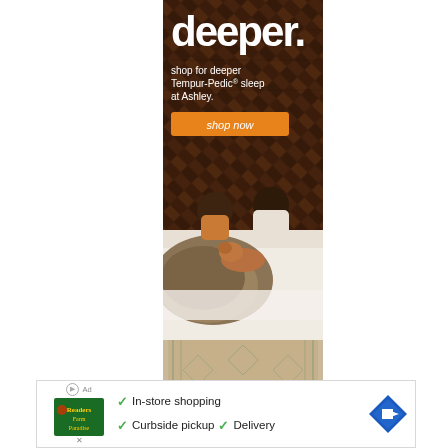[Figure (illustration): Ashley Furniture / Tempur-Pedic advertisement showing a couple sitting on a bed with a dog, wooden herringbone wall background. Large text 'deeper.' at top, subtext 'shop for deeper Tempur-Pedic® sleep at Ashley.' with an orange 'shop now' button.]
[Figure (illustration): Bottom banner ad for a local business (Readers Farm/Paradise) showing logo, checkmarks with 'In-store shopping', 'Curbside pickup', 'Delivery', and a blue navigation arrow icon.]